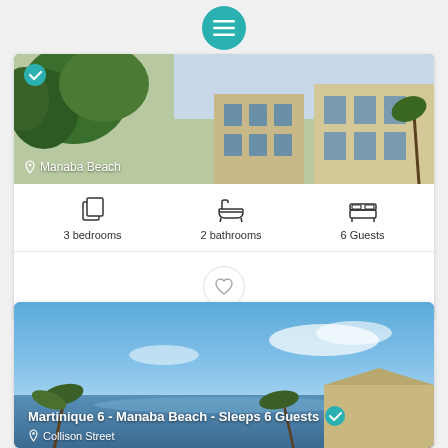[Figure (screenshot): Teal circular menu button with three horizontal lines (hamburger icon)]
[Figure (photo): Beach apartment building photo with lush green trees and sandy facade, location label Manaba Beach with teal verified badge]
3 bedrooms
2 bathrooms
6 Guests
[Figure (other): Heart/favorite icon button in a circle]
[Figure (photo): Ocean view photo with blue sky and sea, palm trees and rooftops visible]
Martinique 6 - Manaba Beach - Sleeps 6 Guests
Collison Street